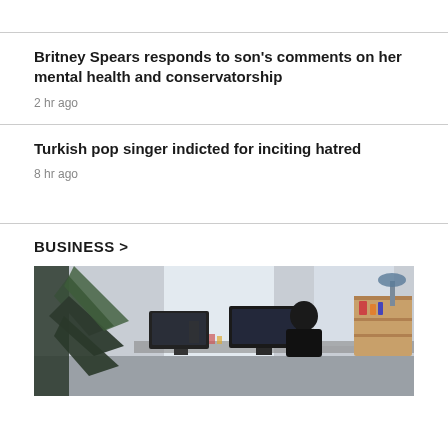Britney Spears responds to son's comments on her mental health and conservatorship
2 hr ago
Turkish pop singer indicted for inciting hatred
8 hr ago
BUSINESS >
[Figure (photo): Office workspace photo showing a person working at a desk with computers, a large plant in the foreground, and shelving in the background]